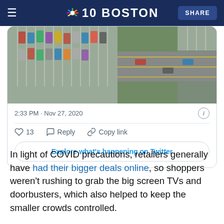NBC 10 BOSTON | SHARE
[Figure (photo): Aerial view of a parking lot and road, taken from above showing cars parked in rows and traffic on a multi-lane road.]
2:33 PM · Nov 27, 2020
13  Reply  Copy link
Explore what's happening on Twitter
In light of COVID precautions, retailers generally have had their bigger deals online, so shoppers weren't rushing to grab the big screen TVs and doorbusters, which also helped to keep the smaller crowds controlled.